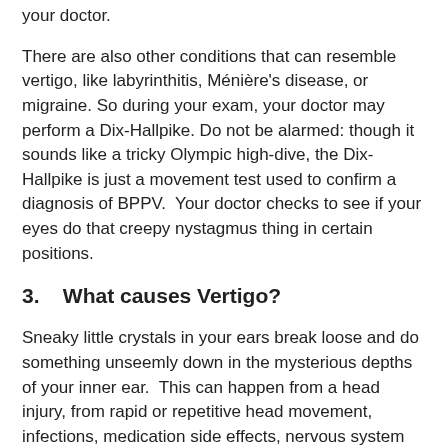your doctor.
There are also other conditions that can resemble vertigo, like labyrinthitis, Ménière's disease, or migraine. So during your exam, your doctor may perform a Dix-Hallpike. Do not be alarmed: though it sounds like a tricky Olympic high-dive, the Dix-Hallpike is just a movement test used to confirm a diagnosis of BPPV.  Your doctor checks to see if your eyes do that creepy nystagmus thing in certain positions.
3.   What causes Vertigo?
Sneaky little crystals in your ears break loose and do something unseemly down in the mysterious depths of your inner ear.  This can happen from a head injury, from rapid or repetitive head movement, infections, medication side effects, nervous system disorders, ear surgery, alcoholism, or most often, for no good reason whatsoever.  It can be made worse by lack of sleep, stress, dehydration, and changes in barometric pressure. For a more coherent explanation you obviously need to go elsewhere-- like to this illustrated explanation of vertigo causes.